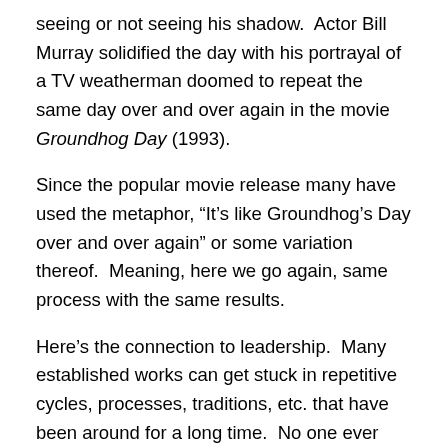seeing or not seeing his shadow.  Actor Bill Murray solidified the day with his portrayal of a TV weatherman doomed to repeat the same day over and over again in the movie Groundhog Day (1993).
Since the popular movie release many have used the metaphor, “It’s like Groundhog’s Day over and over again” or some variation thereof.  Meaning, here we go again, same process with the same results.
Here’s the connection to leadership.  Many established works can get stuck in repetitive cycles, processes, traditions, etc. that have been around for a long time.  No one ever stops to think about why we do such things, we just do them because we always have done them.  They yield predictable outcomes, but we don’t stop to assess whether we could change or discontinue some things.  We